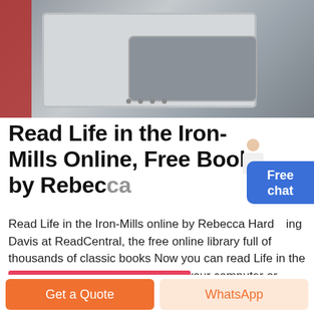[Figure (photo): Industrial machinery photo showing metal panels and a large rectangular cutout/opening, with a red structural element on the left side.]
Read Life in the Iron-Mills Online, Free Books by Rebecca
Read Life in the Iron-Mills online by Rebecca Harding Davis at ReadCentral, the free online library full of thousands of classic books Now you can read Life in the Iron-Mills free from the comfort of your computer or mobile phone and enjoy other many other free books by Rebecca Harding Davis ReadCentral has helped thousands of people.